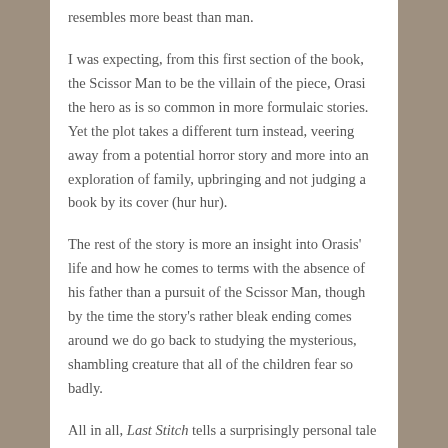resembles more beast than man.
I was expecting, from this first section of the book, the Scissor Man to be the villain of the piece, Orasi the hero as is so common in more formulaic stories. Yet the plot takes a different turn instead, veering away from a potential horror story and more into an exploration of family, upbringing and not judging a book by its cover (hur hur).
The rest of the story is more an insight into Orasis' life and how he comes to terms with the absence of his father than a pursuit of the Scissor Man, though by the time the story's rather bleak ending comes around we do go back to studying the mysterious, shambling creature that all of the children fear so badly.
All in all, Last Stitch tells a surprisingly personal tale